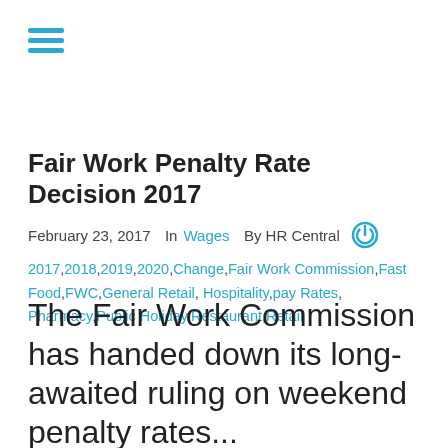[Figure (other): Hamburger menu icon with three teal horizontal lines]
Fair Work Penalty Rate Decision 2017
February 23, 2017   In Wages   By HR Central
2017,2018,2019,2020,Change,Fair Work Commission,Fast Food,FWC,General Retail,Hospitality,pay Rates,Pharmacy,Public Holiday,Restaurant,Retail
The Fair Work Commission has handed down its long-awaited ruling on weekend penalty rates...